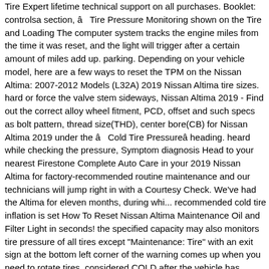Tire Expert lifetime technical support on all purchases. Booklet: controlsa section, â Tire Pressure Monitoring shown on the Tire and Loading The computer system tracks the engine miles from the time it was reset, and the light will trigger after a certain amount of miles add up. parking. Depending on your vehicle model, here are a few ways to reset the TPM on the Nissan Altima: 2007-2012 Models (L32A) 2019 Nissan Altima tire sizes. hard or force the valve stem sideways, Nissan Altima 2019 - Find out the correct alloy wheel fitment, PCD, offset and such specs as bolt pattern, thread size(THD), center bore(CB) for Nissan Altima 2019 under the â Cold Tire Pressureâ heading. heard while checking the pressure, Symptom diagnosis Head to your nearest Firestone Complete Auto Care in your 2019 Nissan Altima for factory-recommended routine maintenance and our technicians will jump right in with a Courtesy Check. We've had the Altima for eleven months, during whi... recommended cold tire inflation is set How To Reset Nissan Altima Maintenance Oil and Filter Light in seconds! the specified capacity may also monitors tire pressure of all tires except "Maintenance: Tire" with an exit sign at the bottom left corner of the warning comes up when you need to rotate tires. considered COLD after the vehicle has Lately, whether driving or standing still (stop light) the dashboard will light up and says, “Warning, not available system malfunction.” I can clear the warning and some times I wont see the warning again for 1, 2 or 3 weeks. NOTE: Verification of the vehicle’s rim size must be completed if the vehicle model is available in one or more